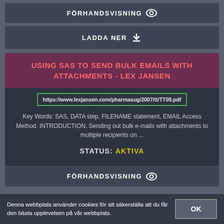FÖRHANDSVISNING
LADDA NER
USING SAS TO SEND BULK EMAILS WITH ATTACHMENTS - LEX JANSEN
https://www.lexjansen.com/pharmasug/2007/tt/TT09.pdf
Key Words: SAS, DATA step, FILENAME statement, EMAIL Access Method. INTRODUCTION. Sending out bulk e-mails with attachments to multiple recipients on ...
STATUS: AKTIVA
FÖRHANDSVISNING
Denna webbplats använder cookies för att säkerställa att du får den bästa upplevelsen på vår webbplats.